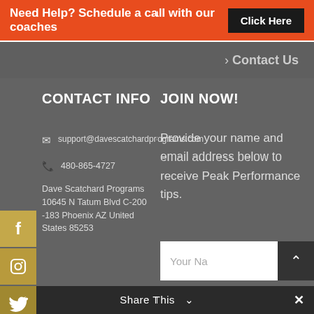Need Help? Schedule a call with our coaches   Click Here
> Contact Us
CONTACT INFO
JOIN NOW!
support@davescatchardprograms.com
480-865-4727
Dave Scatchard Programs 10645 N Tatum Blvd C-200 -183 Phoenix AZ United States 85253
Provide your name and email address below to receive Peak Performance tips.
Your Na...
Share This